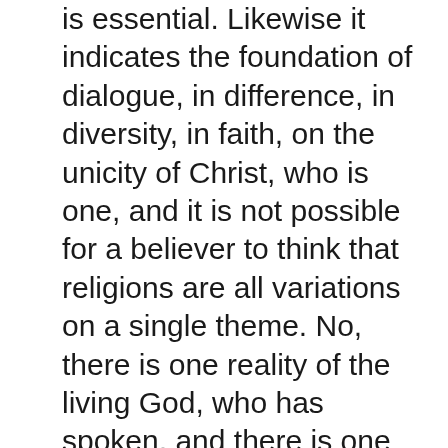is essential. Likewise it indicates the foundation of dialogue, in difference, in diversity, in faith, on the unicity of Christ, who is one, and it is not possible for a believer to think that religions are all variations on a single theme. No, there is one reality of the living God, who has spoken, and there is one God, one incarnate God, thus one word of God, that is truly God's word. But there is religious experience, with a certain human light from creation, and therefore it is necessary and possible to enter into dialogue, and thus to become open to one another and to open everyone to the peace of God, the peace of all his sons and daughters, the peace of his entire family.
Therefore, these two documents, on religious